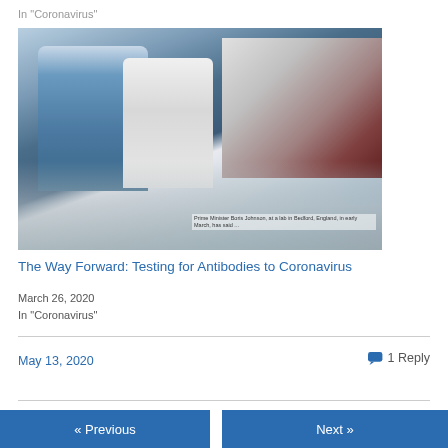In "Coronavirus"
[Figure (photo): Photo of Prime Minister Boris Johnson at a lab in Bedford, England, in early March, wearing a blue lab coat and using a pipette, alongside a woman in a white lab coat. Caption reads: Prime Minister Boris Johnson, at a lab in Bedford, England, in early March, has said...]
The Way Forward: Testing for Antibodies to Coronavirus
March 26, 2020
In "Coronavirus"
May 13, 2020
1 Reply
« Previous
Next »